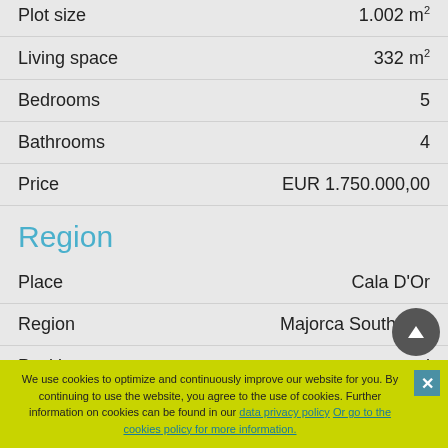| Property | Value |
| --- | --- |
| Plot size | 1.002 m² |
| Living space | 332 m² |
| Bedrooms | 5 |
| Bathrooms | 4 |
| Price | EUR 1.750.000,00 |
Region
| Property | Value |
| --- | --- |
| Place | Cala D'Or |
| Region | Majorca Southeast |
| Position | central |
| Orientation | South |
| Views | Green |
We use cookies to optimize and continuously improve our website for you. By continuing to use the website, you agree to the use of cookies. Further information on cookies can be found in our data privacy policy Or go to the cookies policy for more information.